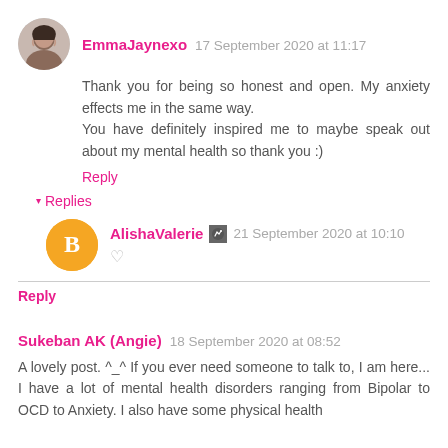[Figure (photo): Avatar photo of EmmaJaynexo, a woman with dark hair]
EmmaJaynexo 17 September 2020 at 11:17
Thank you for being so honest and open. My anxiety effects me in the same way.
You have definitely inspired me to maybe speak out about my mental health so thank you :)
Reply
▾ Replies
[Figure (logo): Blogger orange avatar icon with white B letter]
AlishaValerie 21 September 2020 at 10:10
♡
Reply
Sukeban AK (Angie) 18 September 2020 at 08:52
A lovely post. ^_^ If you ever need someone to talk to, I am here... I have a lot of mental health disorders ranging from Bipolar to OCD to Anxiety. I also have some physical health